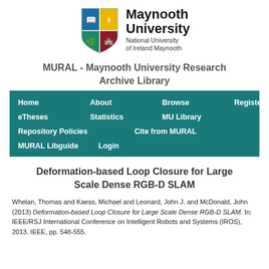[Figure (logo): Maynooth University shield logo with four colored quadrants (blue, yellow, teal, red) featuring book, candle, fern, and tower symbols]
Maynooth University
National University of Ireland Maynooth
MURAL - Maynooth University Research Archive Library
| Home | About | Browse | Register |
| eTheses | Statistics | MU Library |  |
| Repository Policies | Cite from MURAL |  |  |
| MURAL Libguide | Login |  |  |
Deformation-based Loop Closure for Large Scale Dense RGB-D SLAM
Whelan, Thomas and Kaess, Michael and Leonard, John J. and McDonald, John (2013) Deformation-based Loop Closure for Large Scale Dense RGB-D SLAM. In: IEEE/RSJ International Conference on Intelligent Robots and Systems (IROS), 2013. IEEE, pp. 548-555.